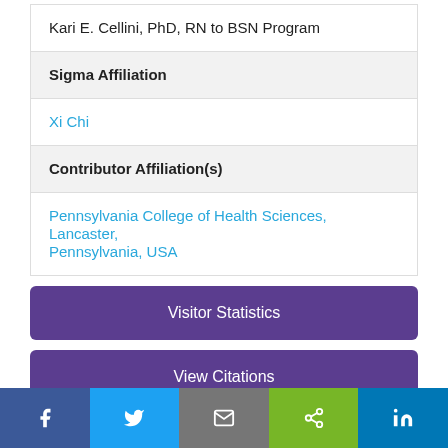Kari E. Cellini, PhD, RN to BSN Program
Sigma Affiliation
Xi Chi
Contributor Affiliation(s)
Pennsylvania College of Health Sciences, Lancaster, Pennsylvania, USA
Visitor Statistics
View Citations
Item Information